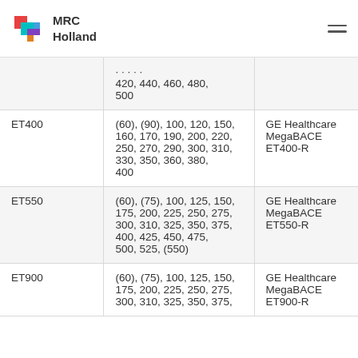MRC Holland
|  | Sizes | Instrument |
| --- | --- | --- |
|  | 420, 440, 460, 480, 500 |  |
| ET400 | (60), (90), 100, 120, 150, 160, 170, 190, 200, 220, 250, 270, 290, 300, 310, 330, 350, 360, 380, 400 | GE Healthcare MegaBACE ET400-R |
| ET550 | (60), (75), 100, 125, 150, 175, 200, 225, 250, 275, 300, 310, 325, 350, 375, 400, 425, 450, 475, 500, 525, (550) | GE Healthcare MegaBACE ET550-R |
| ET900 | (60), (75), 100, 125, 150, 175, 200, 225, 250, 275, 300, 310, 325, 350, 375, … | GE Healthcare MegaBACE ET900-R |